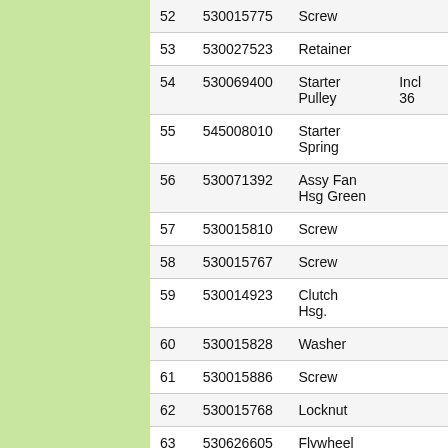| 52 | 530015775 | Screw |  |
| 53 | 530027523 | Retainer |  |
| 54 | 530069400 | Starter Pulley | Incl 36 |
| 55 | 545008010 | Starter Spring |  |
| 56 | 530071392 | Assy Fan Hsg Green |  |
| 57 | 530015810 | Screw |  |
| 58 | 530015767 | Screw |  |
| 59 | 530014923 | Clutch Hsg. |  |
| 60 | 530015828 | Washer |  |
| 61 | 530015886 | Screw |  |
| 62 | 530015768 | Locknut |  |
| 63 | 530626605 | Flywheel Nut |  |